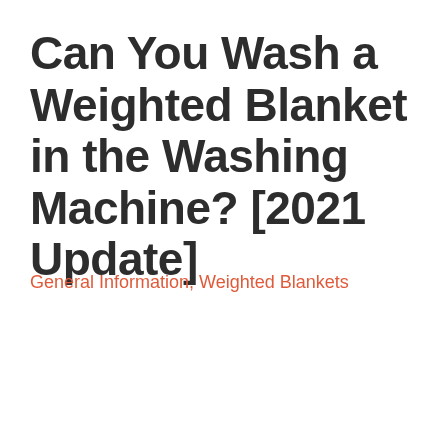Can You Wash a Weighted Blanket in the Washing Machine? [2021 Update]
General Information, Weighted Blankets